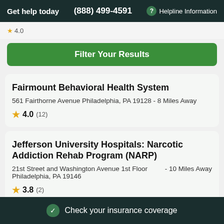Get help today  (888) 499-4591  ? Helpline Information
Filter Your Results
Fairmount Behavioral Health System
561 Fairthorne Avenue Philadelphia, PA 19128 - 8 Miles Away
4.0 (12)
Jefferson University Hospitals: Narcotic Addiction Rehab Program (NARP)
21st Street and Washington Avenue 1st Floor Philadelphia, PA 19146 - 10 Miles Away
3.8 (2)
Check your insurance coverage